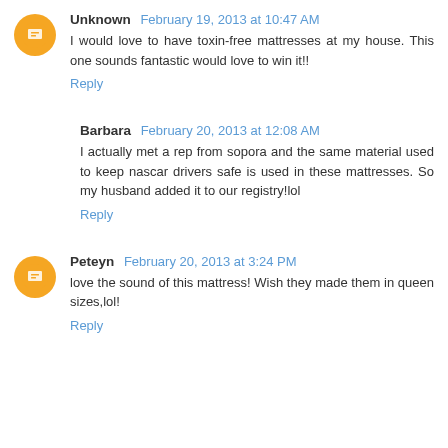Unknown  February 19, 2013 at 10:47 AM
I would love to have toxin-free mattresses at my house. This one sounds fantastic would love to win it!!
Reply
Barbara  February 20, 2013 at 12:08 AM
I actually met a rep from sopora and the same material used to keep nascar drivers safe is used in these mattresses. So my husband added it to our registry!lol
Reply
Peteyn  February 20, 2013 at 3:24 PM
love the sound of this mattress! Wish they made them in queen sizes,lol!
Reply